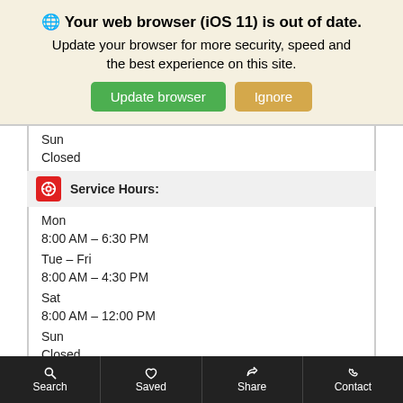🌐 Your web browser (iOS 11) is out of date. Update your browser for more security, speed and the best experience on this site.
Sun
Closed
Service Hours:
Mon
8:00 AM – 6:30 PM
Tue – Fri
8:00 AM – 4:30 PM
Sat
8:00 AM – 12:00 PM
Sun
Closed
Parts Hours:
Mon
Search   Saved   Share   Contact